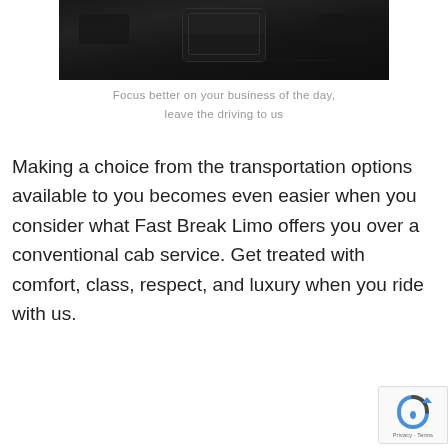[Figure (photo): Dark interior of a luxury limousine showing black leather seating]
Focus better on your business of the day,
leave the driving to us
Making a choice from the transportation options available to you becomes even easier when you consider what Fast Break Limo offers you over a conventional cab service. Get treated with comfort, class, respect, and luxury when you ride with us.